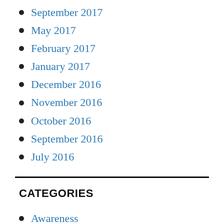September 2017
May 2017
February 2017
January 2017
December 2016
November 2016
October 2016
September 2016
July 2016
CATEGORIES
Awareness
Leadership